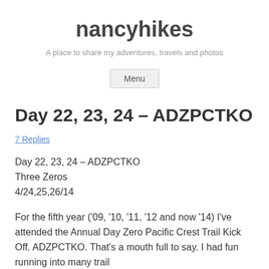nancyhikes
A place to share my adventures, travels and photos
Menu
Day 22, 23, 24 – ADZPCTKO
7 Replies
Day 22, 23, 24 – ADZPCTKO
Three Zeros
4/24,25,26/14
For the fifth year ('09, '10, '11, '12 and now '14) I've attended the Annual Day Zero Pacific Crest Trail Kick Off. ADZPCTKO. That's a mouth full to say. I had fun running into many trail